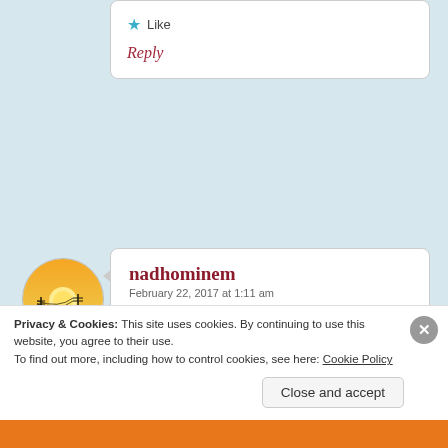Like
Reply
nadhominem
February 22, 2017 at 1:11 am
Your arguments are highly contradictory, and it’s unfortunate you put so much effort into them. I’d
Privacy & Cookies: This site uses cookies. By continuing to use this website, you agree to their use.
To find out more, including how to control cookies, see here: Cookie Policy
Close and accept